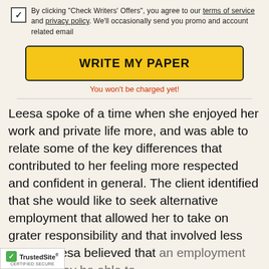By clicking "Check Writers' Offers", you agree to our terms of service and privacy policy. We'll occasionally send you promo and account related email
WRITE MY PAPER
You won't be charged yet!
Leesa spoke of a time when she enjoyed her work and private life more, and was able to relate some of the key differences that contributed to her feeling more respected and confident in general. The client identified that she would like to seek alternative employment that allowed her to take on grater responsibility and that involved less travel. Leesa believed that an employment agency may be able to
[Figure (logo): TrustedSite Certified Secure badge with green checkmark]